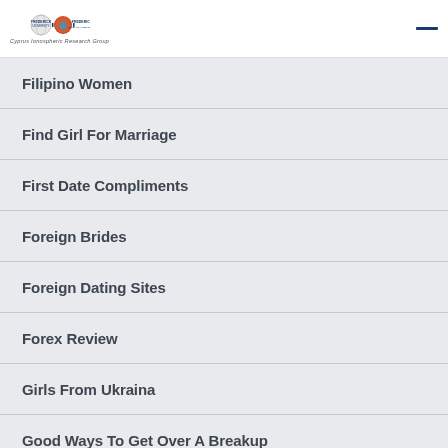Frederick University / Frederick Research Center — Cyprus Ionospheric Research Group
Filipino Women
Find Girl For Marriage
First Date Compliments
Foreign Brides
Foreign Dating Sites
Forex Review
Girls From Ukraina
Good Ways To Get Over A Breakup
Gorgeous Russian Ladies